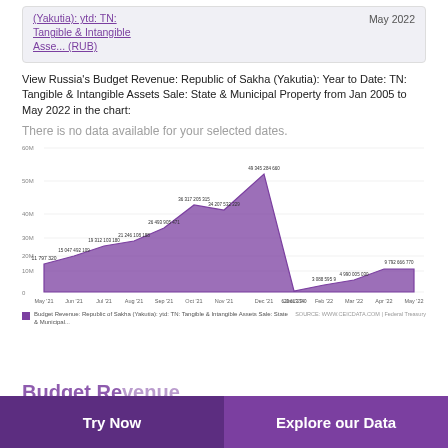(Yakutia): ytd: TN: Tangible & Intangible Asse... (RUB)
May 2022
View Russia's Budget Revenue: Republic of Sakha (Yakutia): Year to Date: TN: Tangible & Intangible Assets Sale: State & Municipal Property from Jan 2005 to May 2022 in the chart:
There is no data available for your selected dates.
[Figure (area-chart): Budget Revenue: Republic of Sakha (Yakutia): ytd: TN: Tangible & Intangible Assets Sale: State & Municipal...]
Budget Revenue: Republic of Sakha (Yakutia): ytd: TN: Tangible & Intangible Assets Sale: State & Municipal...
SOURCE: WWW.CEICDATA.COM | Federal Treasury
Try Now
Explore our Data